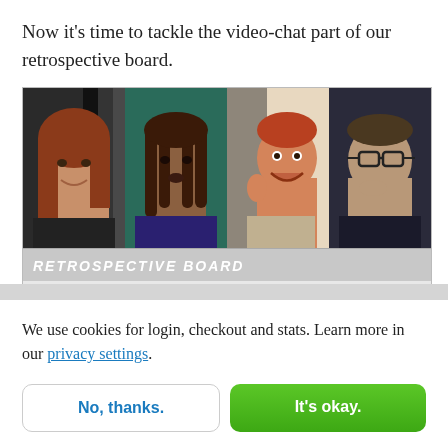Now it's time to tackle the video-chat part of our retrospective board.
[Figure (screenshot): Screenshot of a video-chat retrospective board showing four video feeds of people's faces in a horizontal strip, with a gray bar below containing the text 'RETROSPECTIVE BOARD' in white bold italic letters, and a light gray content area below.]
We use cookies for login, checkout and stats. Learn more in our privacy settings.
No, thanks.
It's okay.